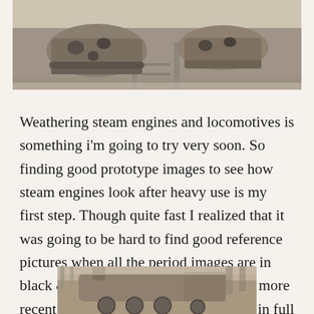[Figure (photo): Black and white photograph of burnt/destroyed heavy machinery or tank-like equipment on a road or track, viewed from above and slightly to the side.]
Weathering steam engines and locomotives is something i'm going to try very soon. So finding good prototype images to see how steam engines look after heavy use is my first step. Though quite fast I realized that it was going to be hard to find good reference pictures when all the period images are in black & white. Therefore I found some more recent pictures of Chinese locomotives in full color to be more accurate for my weathering ambitions. Yes they still use steam locomotives to some extent today. Check it out:
[Figure (photo): Partial black and white photograph of a steam locomotive, visible at the bottom of the page.]